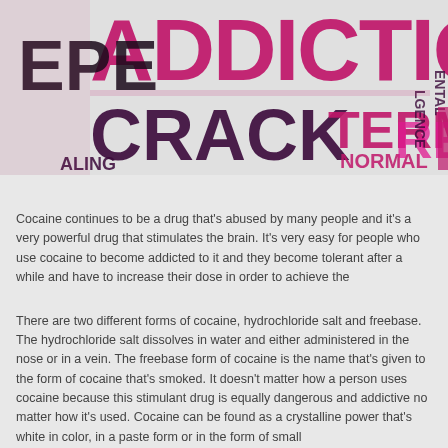[Figure (illustration): Word cloud banner with addiction-related terms in pink/magenta and dark purple/black. Large text includes 'ADDICTION', 'CRACK', 'TERM', 'NORMAL', and partial words like 'EPE', 'ALING', 'LGENCE', 'ENTAL', 'RE' in overlapping typographic collage style.]
Cocaine continues to be a drug that's abused by many people and it's a very powerful drug that stimulates the brain. It's very easy for people who use cocaine to become addicted to it and they become tolerant after a while and have to increase their dose in order to achieve the
There are two different forms of cocaine, hydrochloride salt and freebase. The hydrochloride salt dissolves in water and either administered in the nose or in a vein. The freebase form of cocaine is the name that's given to the form of cocaine that's smoked. It doesn't matter how a person uses cocaine because this stimulant drug is equally dangerous and addictive no matter how it's used. Cocaine can be found as a crystalline power that's white in color, in a paste form or in the form of small